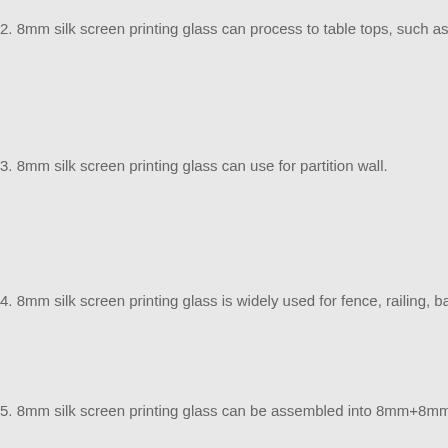2. 8mm silk screen printing glass can process to table tops, such as dinn
3. 8mm silk screen printing glass can use for partition wall.
4. 8mm silk screen printing glass is widely used for fence, railing, balustr
5. 8mm silk screen printing glass can be assembled into 8mm+8mm lam